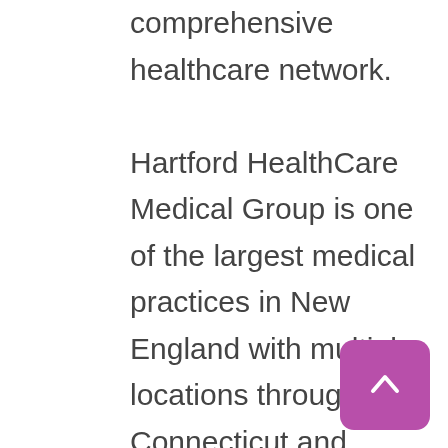comprehensive healthcare network.

Hartford HealthCare Medical Group is one of the largest medical practices in New England with multiple locations throughout Connecticut and Rhode Island. We consist of a team of professionals ranging from Medical Assistants to Physician Assistants and